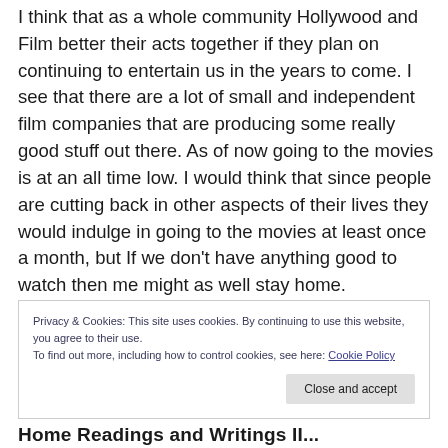I think that as a whole community Hollywood and Film better their acts together if they plan on continuing to entertain us in the years to come.  I see that there are a lot of small and independent film companies that are producing some really good stuff out there.  As of now going to the movies is at an all time low.  I would think that since people are cutting back in other aspects of their lives they would indulge in going to the movies at least once a month, but If we don't have anything good to watch then me might as well stay home.
Privacy & Cookies: This site uses cookies. By continuing to use this website, you agree to their use.
To find out more, including how to control cookies, see here: Cookie Policy
Home Readings and Writings II...